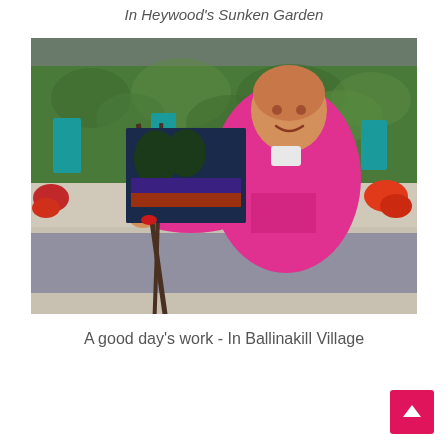In Heywood's Sunken Garden
[Figure (photo): Elderly man in a bright pink t-shirt holding a painting on an easel outdoors, with a green ivy-covered wall and colorful flowers in the background, smiling at the camera]
A good day's work - In Ballinakill Village